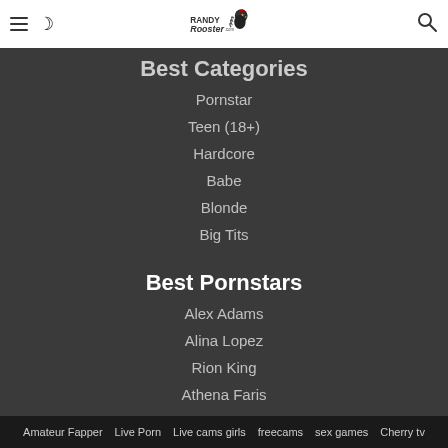Randy Rooster .com
Best Categories
Pornstar
Teen (18+)
Hardcore
Babe
Blonde
Big Tits
Best Pornstars
Alex Adams
Alina Lopez
Rion King
Athena Faris
Skylar Vox
Alex D
Amateur Fapper  Live Porn  Live cams girls  freecams  sex games  Cherry tv